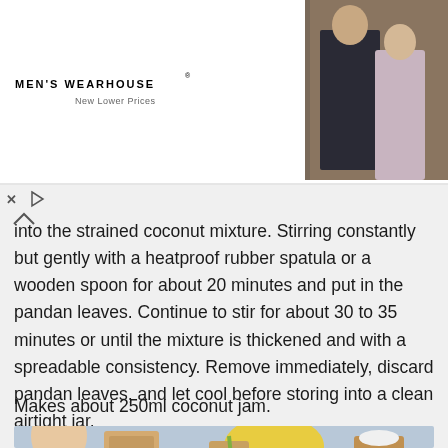[Figure (photo): Men's Wearhouse advertisement banner showing a couple in formal wear (man in dark suit, woman in pink/silver gown) and a man in a tuxedo, with 'INFO' button. Includes MEN'S WEARHOUSE logo with 'New Lower Prices' tagline.]
into the strained coconut mixture. Stirring constantly but gently with a heatproof rubber spatula or a wooden spoon for about 20 minutes and put in the pandan leaves. Continue to stir for about 30 to 35 minutes or until the mixture is thickened and with a spreadable consistency. Remove immediately, discard pandan leaves, and let cool before storing into a clean airtight jar.
Makes about 250ml coconut jam.
[Figure (photo): Food photo showing a soft-boiled egg in a blue egg cup, toast slices, a glass with a straw, a yellow bowl, and what appears to be kaya (coconut jam) spread.]